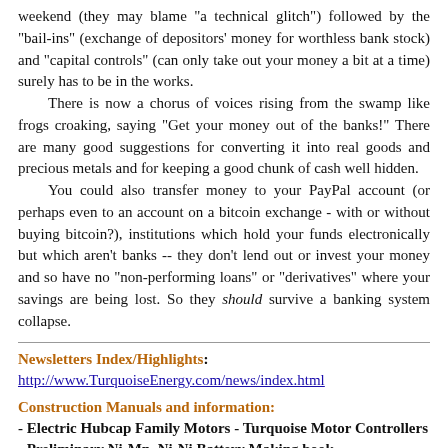weekend (they may blame "a technical glitch") followed by the "bail-ins" (exchange of depositors' money for worthless bank stock) and "capital controls" (can only take out your money a bit at a time) surely has to be in the works.
  There is now a chorus of voices rising from the swamp like frogs croaking, saying "Get your money out of the banks!" There are many good suggestions for converting it into real goods and precious metals and for keeping a good chunk of cash well hidden.
  You could also transfer money to your PayPal account (or perhaps even to an account on a bitcoin exchange - with or without buying bitcoin?), institutions which hold your funds electronically but which aren't banks -- they don't lend out or invest your money and so have no "non-performing loans" or "derivatives" where your savings are being lost. So they should survive a banking system collapse.
Newsletters Index/Highlights: http://www.TurquoiseEnergy.com/news/index.html
Construction Manuals and information: - Electric Hubcap Family Motors - Turquoise Motor Controllers - Preliminary Ni-Mn, Ni-Ni Battery Making book